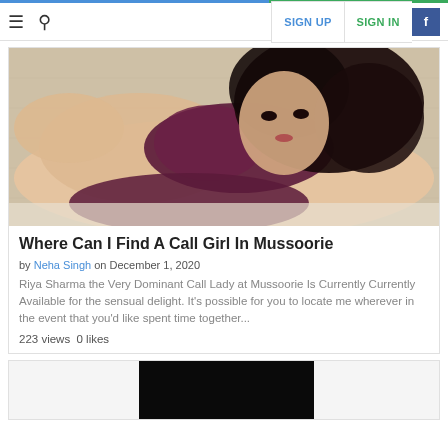≡  🔍   SIGN UP   SIGN IN   f
[Figure (photo): Woman in dark purple/maroon lingerie lying on a bed, dark wavy hair, posing for camera. Background is a light textured wall.]
Where Can I Find A Call Girl In Mussoorie
by Neha Singh on December 1, 2020
Riya Sharma the Very Dominant Call Lady at Mussoorie Is Currently Currently Available for the sensual delight. It's possible for you to locate me wherever in the event that you'd like spent time together...
223 views  0 likes
[Figure (photo): Partial view of a second article card with a dark/black image thumbnail.]